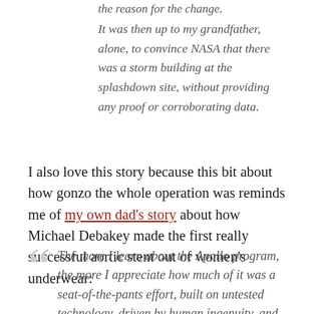It was then up to my grandfather, alone, to convince NASA that there was a storm building at the splashdown site, without providing any proof or corroborating data.
I also love this story because this bit about how gonzo the whole operation was reminds me of my own dad's story about how Michael Debakey made the first really successful aortic stent out of women's underwear:
The more I learn about the Apollo program, the more I appreciate how much of it was a seat-of-the-pants effort, built on untested technology, driven by human ingenuity, and